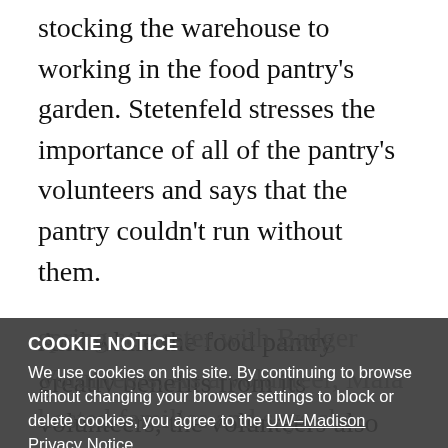stocking the warehouse to working in the food pantry's garden. Stetenfeld stresses the importance of all of the pantry's volunteers and says that the pantry couldn't run without them.
And while the food pantry greatly benefits from its volunteers, the volunteers also greatly benefit from the experience. UW-Madison junior Maia Erickson volunteered at the St. Vincent De Paul Food Pantry last spring semester with Badger Volunteers. As a volunteer, Maia hosted families and says she really valued the one-on-one interaction.
"It was great to interact with groups of people that I don't normally see on campus as a college student," Erickson said. "I always loved that after I helped them load their
COOKIE NOTICE
We use cookies on this site. By continuing to browse without changing your browser settings to block or delete cookies, you agree to the UW–Madison Privacy Notice.
GOT IT!